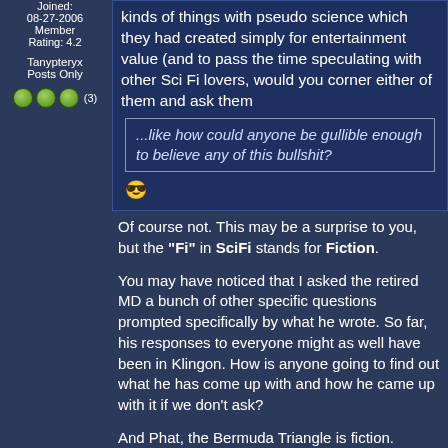Joined: 08-27-2006 Member Rating: 4.2
Tanypteryx Posts Only
(3)
kinds of things with pseudo science which they had created simply for entertainment value (and to pass the time speculating with other Sci Fi lovers, would you corner either of them and ask them
...like how could anyone be gullible enough to believe any of this bullshit?
Of course not. This may be a surprise to you, but the "Fi" in SciFi stands for Fiction.
You may have noticed that I asked the retired MD a bunch of other specific questions prompted specifically by what he wrote. So far, his responses to everyone might as well have been in Klingon. How is anyone going to find out what he has come up with and how he came up with it if we don't ask?
And Phat, the Bermuda Triangle is fiction.
What if Eleanor Roosevelt had wings? -- Monty Python